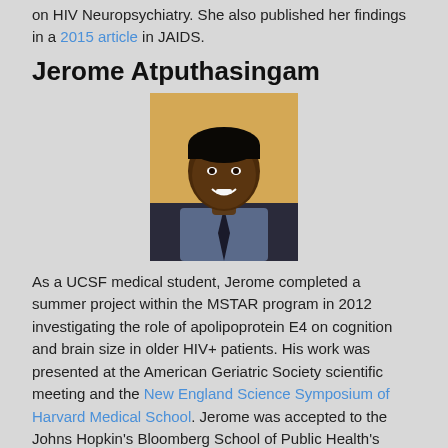on HIV Neuropsychiatry. She also published her findings in a 2015 article in JAIDS.
Jerome Atputhasingam
[Figure (photo): Head shot photograph of Jerome Atputhasingam, a young man in a shirt and tie, smiling.]
As a UCSF medical student, Jerome completed a summer project within the MSTAR program in 2012 investigating the role of apolipoprotein E4 on cognition and brain size in older HIV+ patients. His work was presented at the American Geriatric Society scientific meeting and the New England Science Symposium of Harvard Medical School. Jerome was accepted to the Johns Hopkin's Bloomberg School of Public Health's Masters in Public Health program as a Sommer Leadership Scholar.
[Figure (photo): Partial photo visible at the bottom of the page, showing a teal/cyan colored image, likely another person's portrait.]